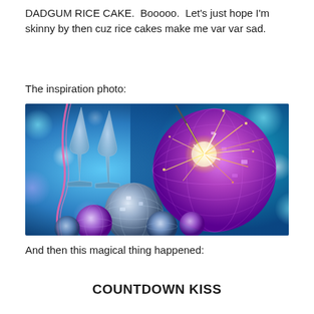DADGUM RICE CAKE.  Booooo.  Let’s just hope I’m skinny by then cuz rice cakes make me var var sad.
The inspiration photo:
[Figure (photo): New Year's celebration photo featuring disco/mirror balls in purple and silver, champagne flutes, sparkler with bright sparks, against a blue and teal bokeh background.]
And then this magical thing happened:
COUNTDOWN KISS